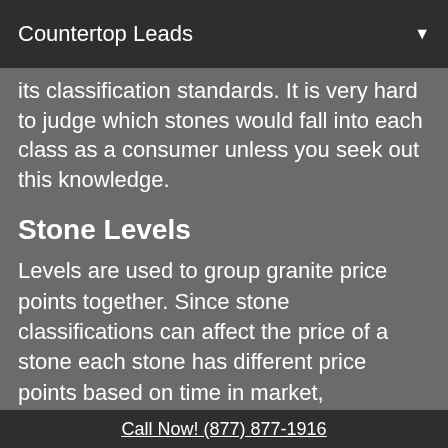Countertop Leads ▼
its classification standards. It is very hard to judge which stones would fall into each class as a consumer unless you seek out this knowledge.
Stone Levels
Levels are used to group granite price points together. Since stone classifications can affect the price of a stone each stone has different price points based on time in market, desirability, and costs associated to mining the slabs. To also ease the sales process levels are developed to group stones together based on price point to the consumer. These levels are typically
Call Now! (877) 877-1916